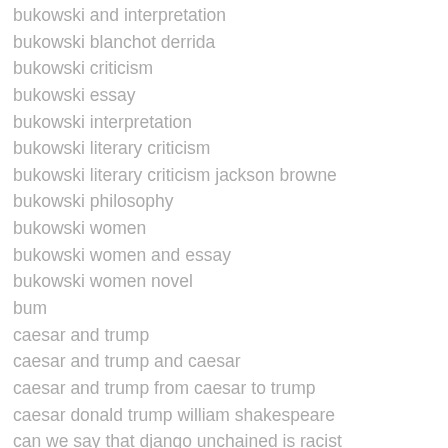bukowski and interpretation
bukowski blanchot derrida
bukowski criticism
bukowski essay
bukowski interpretation
bukowski literary criticism
bukowski literary criticism jackson browne
bukowski philosophy
bukowski women
bukowski women and essay
bukowski women novel
bum
caesar and trump
caesar and trump and caesar
caesar and trump from caesar to trump
caesar donald trump william shakespeare
can we say that django unchained is racist
candace bushnell lipstick jungle